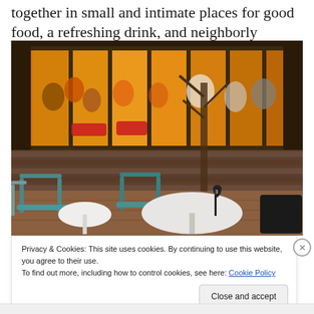together in small and intimate places for good food, a refreshing drink, and neighborly conversation. Cheers!
[Figure (photo): Outdoor cafe patio with teal/blue chairs and white round tables in the foreground. Through large glass windows in the background, people are seated and dining inside a warmly lit restaurant interior with orange/amber lighting and red accents. A bare tree trunk stands near center. A heart-shaped table number stand with the number 3 is on the round table.]
Privacy & Cookies: This site uses cookies. By continuing to use this website, you agree to their use.
To find out more, including how to control cookies, see here: Cookie Policy
Close and accept